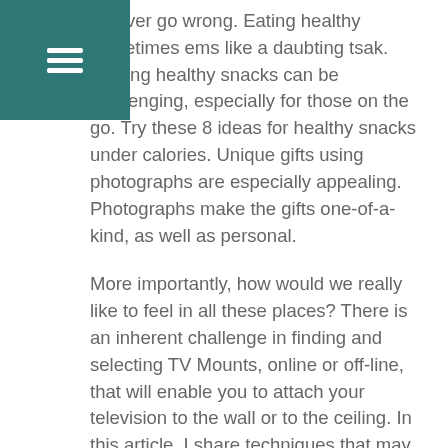n never go wrong. Eating healthy sometimes ems like a daubting tsak. Finding healthy snacks can be challenging, especially for those on the go. Try these 8 ideas for healthy snacks under calories. Unique gifts using photographs are especially appealing. Photographs make the gifts one-of-a-kind, as well as personal.
More importantly, how would we really like to feel in all these places? There is an inherent challenge in finding and selecting TV Mounts, online or off-line, that will enable you to attach your television to the wall or to the ceiling. In this article, I share techniques that may help you find the appropriate TV Mount for your television, in much less time with much more accuracy.
In Part 1 and 2 of this series, we explored the